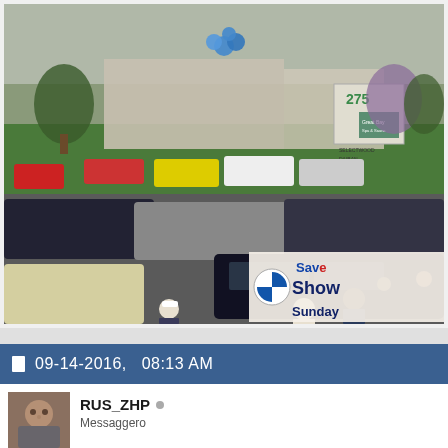[Figure (photo): Outdoor car show event with many cars parked in a lot and people walking around. Buildings and trees visible in background. An overlay banner in the lower right reads 'Save Showroom Sunday'. Blue balloons visible near building entrance.]
09-14-2016,   08:13 AM
RUS_ZHP
Messaggero